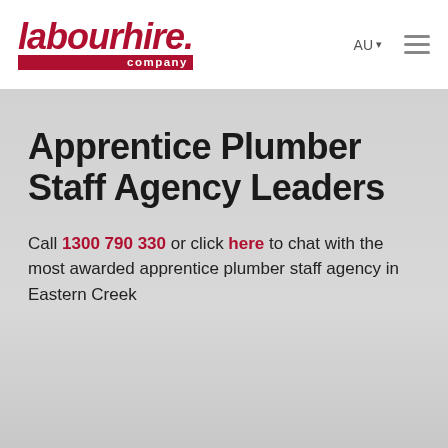[Figure (logo): labourhire.company logo in dark red/maroon italic bold font with red bar and '.company' text]
AU  ≡
Apprentice Plumber Staff Agency Leaders
Call 1300 790 330 or click here to chat with the most awarded apprentice plumber staff agency in Eastern Creek